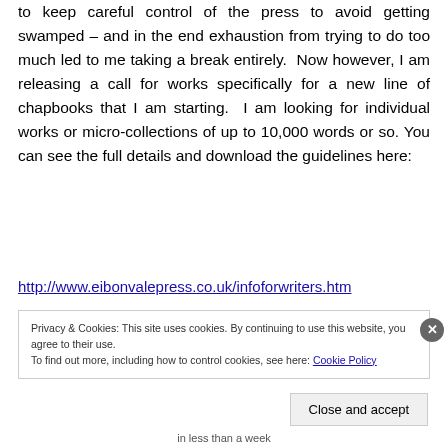to keep careful control of the press to avoid getting swamped – and in the end exhaustion from trying to do too much led to me taking a break entirely. Now however, I am releasing a call for works specifically for a new line of chapbooks that I am starting. I am looking for individual works or micro-collections of up to 10,000 words or so. You can see the full details and download the guidelines here:
http://www.eibonvalepress.co.uk/infoforwriters.htm
Privacy & Cookies: This site uses cookies. By continuing to use this website, you agree to their use. To find out more, including how to control cookies, see here: Cookie Policy
Close and accept
in less than a week